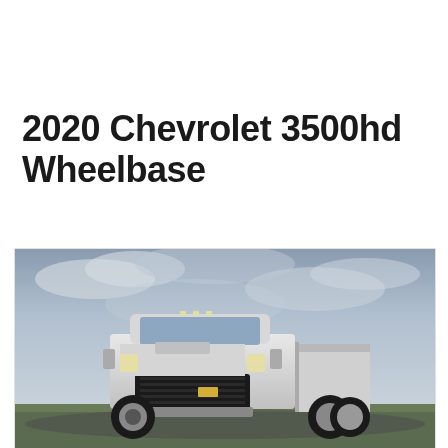2020 Chevrolet 3500hd Wheelbase
[Figure (photo): Front 3/4 view of a white 2020 Chevrolet 3500HD heavy-duty pickup truck photographed outdoors against a cloudy dramatic sky, parked on a road with green grass visible at the bottom.]